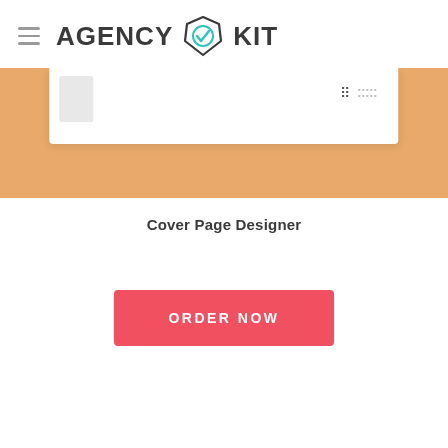AGENCY KIT
[Figure (screenshot): Preview of a cover page designer tool showing a partial document card on an orange/tan background]
Cover Page Designer
ORDER NOW